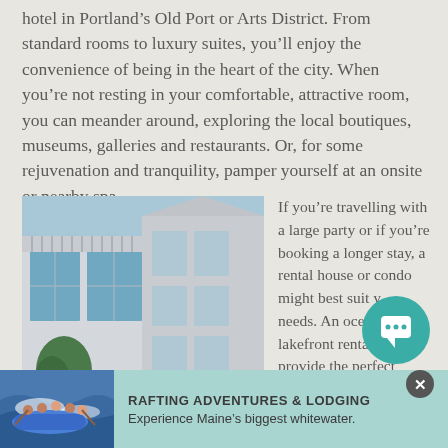hotel in Portland's Old Port or Arts District. From standard rooms to luxury suites, you'll enjoy the convenience of being in the heart of the city. When you're not resting in your comfortable, attractive room, you can meander around, exploring the local boutiques, museums, galleries and restaurants. Or, for some rejuvenation and tranquility, pamper yourself at an onsite or nearby spa.
[Figure (photo): Exterior photo of a large white/grey coastal hotel or inn building with large windows, balconies, green trees and green patio umbrellas in the foreground, blue sky background.]
If you're travelling with a large party or if you're booking a longer stay, a rental house or condo might best suit your needs. An ocean or lakefront rental can provide the perfect
[Figure (photo): Photo of people whitewater rafting in blue inflatable rafts on rapids.]
RAFTING ADVENTURES & LODGING
Experience Maine's biggest whitewater.